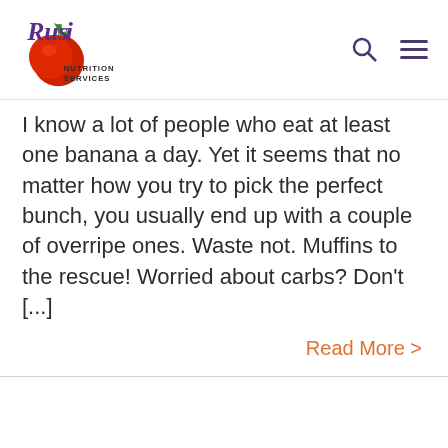Russ Nutrition Services
I know a lot of people who eat at least one banana a day. Yet it seems that no matter how you try to pick the perfect bunch, you usually end up with a couple of overripe ones. Waste not. Muffins to the rescue! Worried about carbs? Don't [...]
Read More >